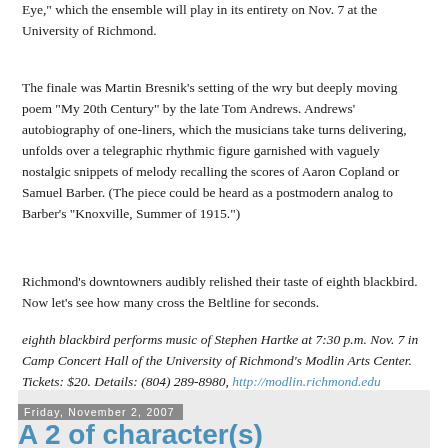Eye," which the ensemble will play in its entirety on Nov. 7 at the University of Richmond.
The finale was Martin Bresnik’s setting of the wry but deeply moving poem "My 20th Century" by the late Tom Andrews. Andrews’ autobiography of one-liners, which the musicians take turns delivering, unfolds over a telegraphic rhythmic figure garnished with vaguely nostalgic snippets of melody recalling the scores of Aaron Copland or Samuel Barber. (The piece could be heard as a postmodern analog to Barber’s "Knoxville, Summer of 1915.")
Richmond's downtowners audibly relished their taste of eighth blackbird. Now let’s see how many cross the Beltline for seconds.
eighth blackbird performs music of Stephen Hartke at 7:30 p.m. Nov. 7 in Camp Concert Hall of the University of Richmond’s Modlin Arts Center. Tickets: $20. Details: (804) 289-8980, http://modlin.richmond.edu
[Figure (other): Gray advertisement or image placeholder box]
Friday, November 2, 2007
A 2 of character(s)